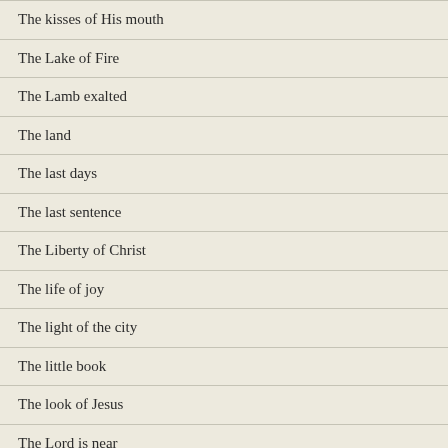The kisses of His mouth
The Lake of Fire
The Lamb exalted
The land
The last days
The last sentence
The Liberty of Christ
The life of joy
The light of the city
The little book
The look of Jesus
The Lord is near
The love of the Father